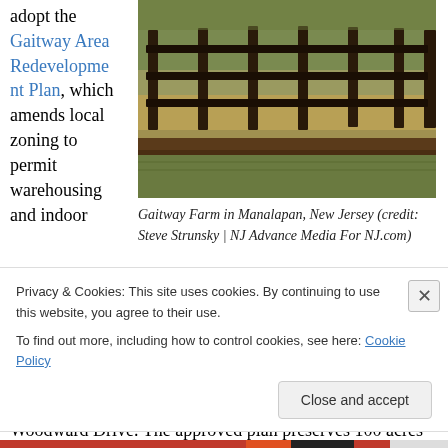adopt the Gaitway Area Redevelopment Plan, which amends local zoning to permit warehousing and indoor recreation southwest of the intersection of Route 33 and Woodward Drive. The approved plan preserves 100 acres
[Figure (photo): A wooden rail fence at Gaitway Farm in Manalapan, New Jersey, with dry grass and trees in the background.]
Gaitway Farm in Manalapan, New Jersey (credit: Steve Strunsky | NJ Advance Media For NJ.com)
Privacy & Cookies: This site uses cookies. By continuing to use this website, you agree to their use.
To find out more, including how to control cookies, see here: Cookie Policy
Close and accept